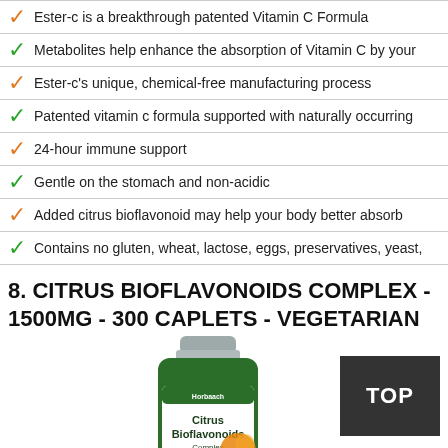Ester-c is a breakthrough patented Vitamin C Formula
Metabolites help enhance the absorption of Vitamin C by your
Ester-c's unique, chemical-free manufacturing process
Patented vitamin c formula supported with naturally occurring
24-hour immune support
Gentle on the stomach and non-acidic
Added citrus bioflavonoid may help your body better absorb
Contains no gluten, wheat, lactose, eggs, preservatives, yeast,
8. CITRUS BIOFLAVONOIDS COMPLEX - 1500MG - 300 CAPLETS - VEGETARIAN
[Figure (photo): Green supplement bottle labeled Citrus Bioflavonoids Complex 1500mg 300 Caplets by Horbaach, with orange citrus fruit imagery]